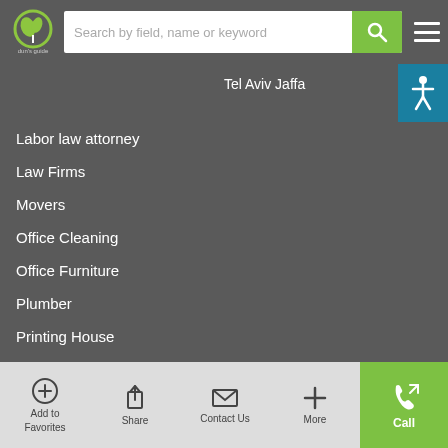Search by field, name or keyword
Labor law attorney
Tel Aviv Jaffa
Law Firms
Movers
Office Cleaning
Office Furniture
Plumber
Printing House
Real-estate Appraisers
Real-estate attorney
Real-estate Rentals
Add to Favorites | Share | Contact Us | More | Call